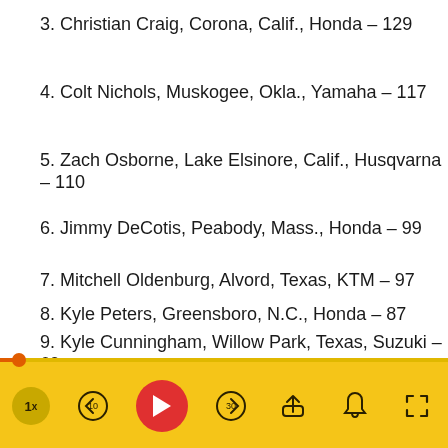3. Christian Craig, Corona, Calif., Honda – 129
4. Colt Nichols, Muskogee, Okla., Yamaha – 117
5. Zach Osborne, Lake Elsinore, Calif., Husqvarna – 110
6. Jimmy DeCotis, Peabody, Mass., Honda – 99
7. Mitchell Oldenburg, Alvord, Texas, KTM – 97
8. Kyle Peters, Greensboro, N.C., Honda – 87
9. Kyle Cunningham, Willow Park, Texas, Suzuki – 69
10.  Jordon Smith, Belmont, N.C., – 63